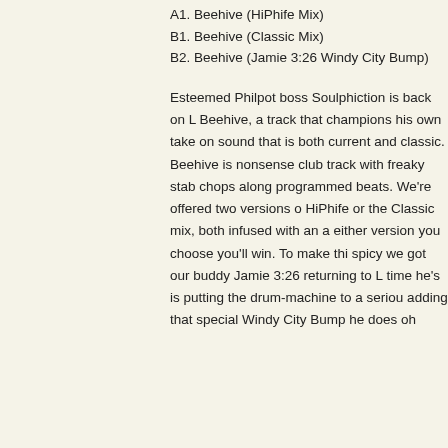A1. Beehive (HiPhife Mix)
B1. Beehive (Classic Mix)
B2. Beehive (Jamie 3:26 Windy City Bump)
Esteemed Philpot boss Soulphiction is back on L Beehive, a track that champions his own take on sound that is both current and classic. Beehive is nonsense club track with freaky stab chops along programmed beats. We're offered two versions o HiPhife or the Classic mix, both infused with an a either version you choose you'll win. To make thi spicy we got our buddy Jamie 3:26 returning to L time he's is putting the drum-machine to a seriou adding that special Windy City Bump he does oh